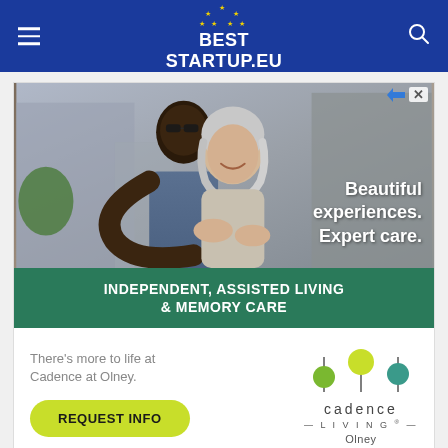BEST STARTUP.eu
[Figure (photo): Advertisement banner for Cadence Living at Olney senior living community. Shows two older adults smiling and embracing outdoors. Text overlay reads 'Beautiful experiences. Expert care.' Below is a teal banner reading 'INDEPENDENT, ASSISTED LIVING & MEMORY CARE'. Bottom section has tagline 'There's more to life at Cadence at Olney.' with a Request Info button and Cadence Living Olney logo.]